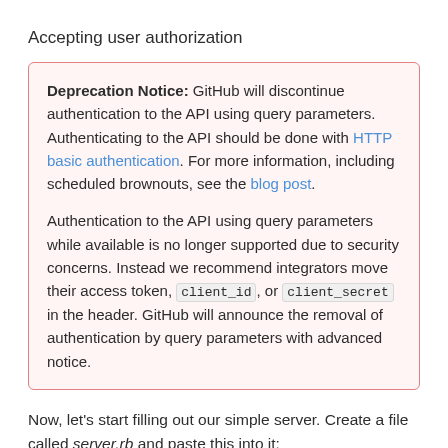Accepting user authorization
Deprecation Notice: GitHub will discontinue authentication to the API using query parameters. Authenticating to the API should be done with HTTP basic authentication. For more information, including scheduled brownouts, see the blog post.

Authentication to the API using query parameters while available is no longer supported due to security concerns. Instead we recommend integrators move their access token, client_id, or client_secret in the header. GitHub will announce the removal of authentication by query parameters with advanced notice.
Now, let's start filling out our simple server. Create a file called server.rb and paste this into it: